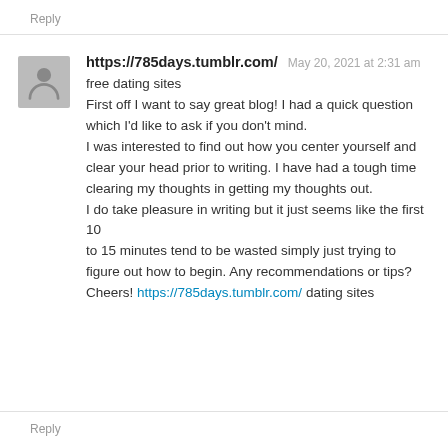Reply
https://785days.tumblr.com/  May 20, 2021 at 2:31 am
free dating sites
First off I want to say great blog! I had a quick question which I'd like to ask if you don't mind.
I was interested to find out how you center yourself and clear your head prior to writing. I have had a tough time clearing my thoughts in getting my thoughts out.
I do take pleasure in writing but it just seems like the first 10
to 15 minutes tend to be wasted simply just trying to figure out how to begin. Any recommendations or tips?
Cheers! https://785days.tumblr.com/ dating sites
Reply